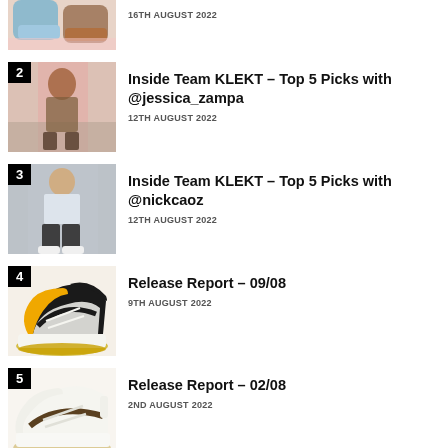16TH AUGUST 2022
Inside Team KLEKT – Top 5 Picks with @jessica_zampa
12TH AUGUST 2022
Inside Team KLEKT – Top 5 Picks with @nickcaoz
12TH AUGUST 2022
Release Report – 09/08
9TH AUGUST 2022
Release Report – 02/08
2ND AUGUST 2022